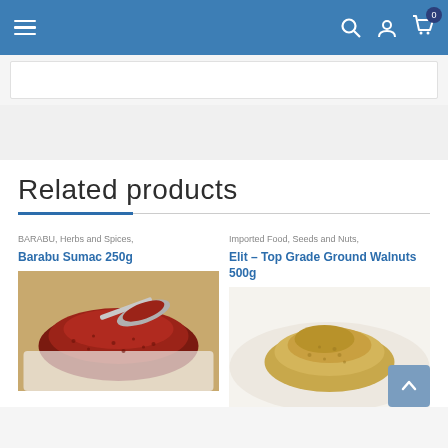Navigation bar with hamburger menu, search, user, and cart icons
Related products
BARABU, Herbs and Spices,
Barabu Sumac 250g
[Figure (photo): Close-up photo of dark red sumac spice on a spoon over a white dish]
Imported Food, Seeds and Nuts,
Elit – Top Grade Ground Walnuts 500g
[Figure (photo): Close-up photo of ground walnuts piled on a white plate]